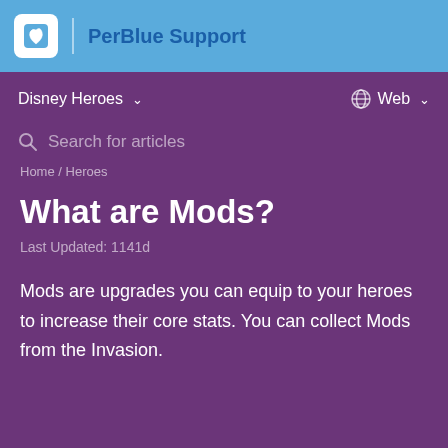PerBlue Support
Disney Heroes   Web
Search for articles
Home / Heroes
What are Mods?
Last Updated: 1141d
Mods are upgrades you can equip to your heroes to increase their core stats. You can collect Mods from the Invasion.